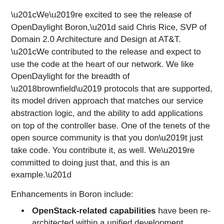“We’re excited to see the release of OpenDaylight Boron,” said Chris Rice, SVP of Domain 2.0 Architecture and Design at AT&T. “We contributed to the release and expect to use the code at the heart of our network. We like OpenDaylight for the breadth of ‘brownfield’ protocols that are supported, its model driven approach that matches our service abstraction logic, and the ability to add applications on top of the controller base. One of the tenets of the open source community is that you don’t just take code. You contribute it, as well. We’re committed to doing just that, and this is an example.”
Enhancements in Boron include:
OpenStack-related capabilities have been re-architected within a unified development framework for better scalability and performance, including clustering, High Availability (HA), and persistence.
Southbound enhancements for VNFs include